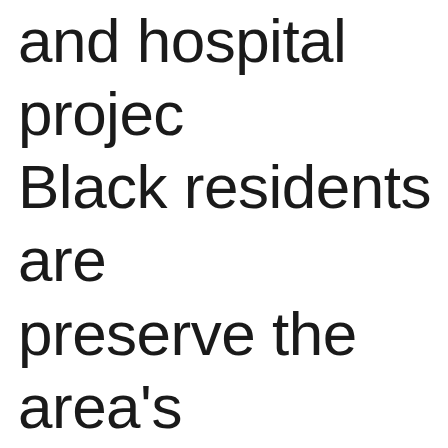and hospital projects. Black residents are preserve the area's from circling real es
“They tried to scoop city,” explained Fou are generations of B working in Portland